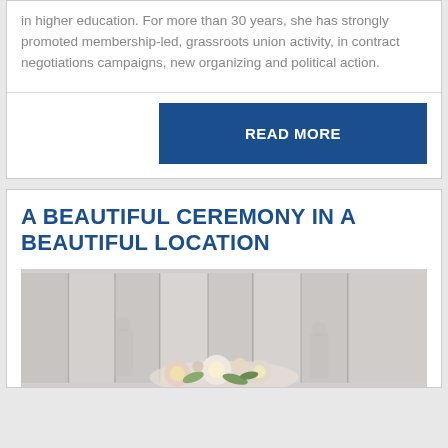in higher education. For more than 30 years, she has strongly promoted membership-led, grassroots union activity, in contract negotiations campaigns, new organizing and political action.
READ MORE
A BEAUTIFUL CEREMONY IN A BEAUTIFUL LOCATION
[Figure (photo): Photo of a ceremony venue with white curtains draped in the background and flowers in the foreground]